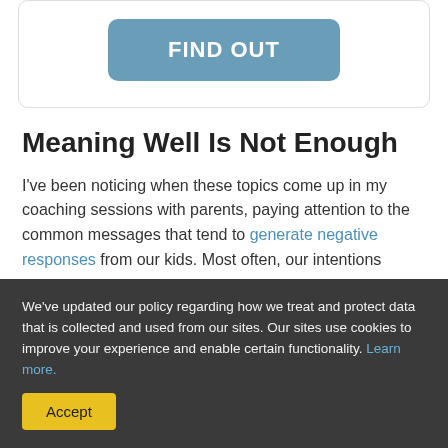[Figure (other): A teal/blue rounded button labeled FIND OUT inside a card with light border]
Meaning Well Is Not Enough
I've been noticing when these topics come up in my coaching sessions with parents, paying attention to the common messages that tend to generate negative responses from our kids. Most often, our intentions
We've updated our policy regarding how we treat and protect data that is collected and used from our sites. Our sites use cookies to improve your experience and enable certain functionality. Learn more.
Accept